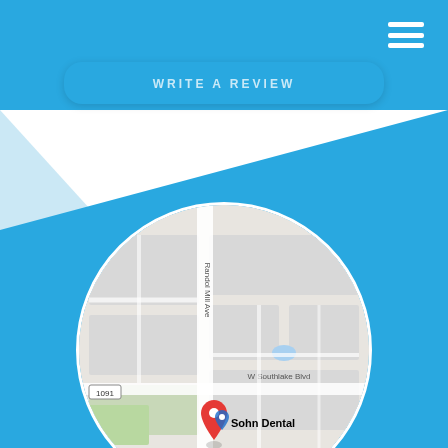WRITE A REVIEW
[Figure (map): Google Maps circular map showing Sohn Dental location near Randol Mill Ave and W Southlake Blvd, with red pin marker. Nearby places include Sprouts Farmers Market and Urban Air Trampoline and Adventure Park.]